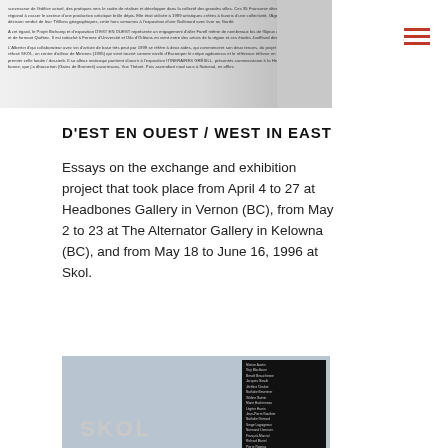[Figure (photo): Scan/screenshot of a French-language text document page with a grey and white gallery image on the right side]
D'EST EN OUEST / WEST IN EAST
Essays on the exchange and exhibition project that took place from April 4 to 27 at Headbones Gallery in Vernon (BC), from May 2 to 23 at The Alternator Gallery in Kelowna (BC), and from May 18 to June 16, 1996 at Skol.
[Figure (photo): Cover image of the Skol publication: blue-grey background with SKOL lettering on the left and a list of artist names on a black panel on the right]